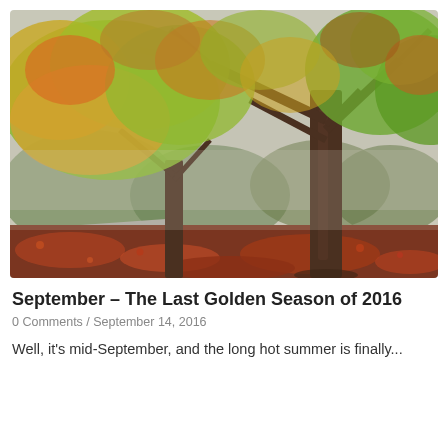[Figure (photo): Autumn trees with orange, yellow, red, and green foliage lining a road or parking area. Fallen red and orange leaves cover the ground beneath the large trees. Misty, overcast background with dense green shrubs.]
September – The Last Golden Season of 2016
0 Comments / September 14, 2016
Well, it's mid-September, and the long hot summer is finally...